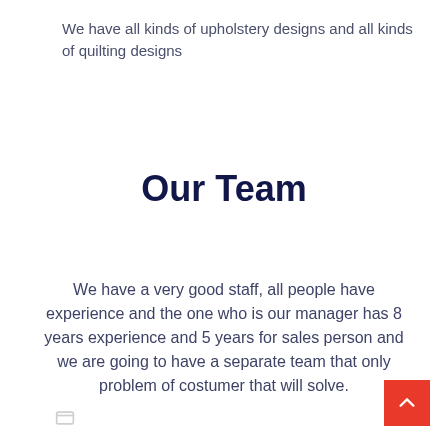We have all kinds of upholstery designs and all kinds of quilting designs
Our Team
We have a very good staff, all people have experience and the one who is our manager has 8 years experience and 5 years for sales person and we are going to have a separate team that only problem of costumer that will solve.